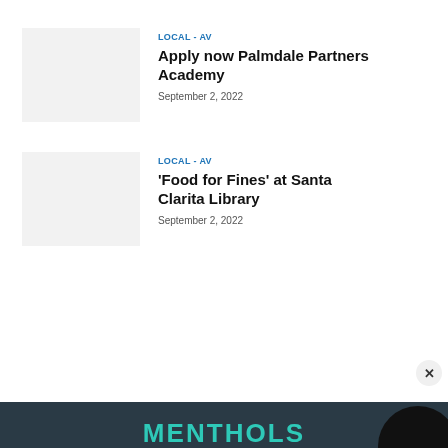LOCAL - AV
Apply now Palmdale Partners Academy
September 2, 2022
LOCAL - AV
'Food for Fines' at Santa Clarita Library
September 2, 2022
[Figure (photo): Advertisement banner with teal MENTHOLS text and tagline 'Smoothing over cancer since 1931' on dark background]